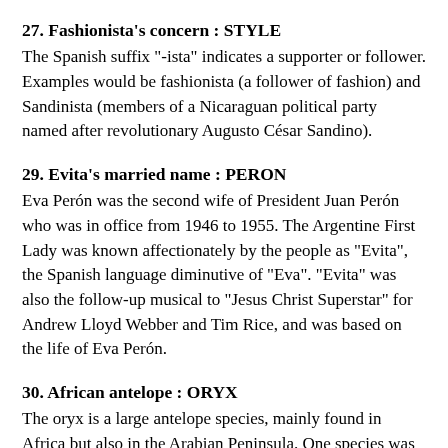27. Fashionista's concern : STYLE
The Spanish suffix "-ista" indicates a supporter or follower. Examples would be fashionista (a follower of fashion) and Sandinista (members of a Nicaraguan political party named after revolutionary Augusto César Sandino).
29. Evita's married name : PERON
Eva Perón was the second wife of President Juan Perón who was in office from 1946 to 1955. The Argentine First Lady was known affectionately by the people as "Evita", the Spanish language diminutive of "Eva". "Evita" was also the follow-up musical to "Jesus Christ Superstar" for Andrew Lloyd Webber and Tim Rice, and was based on the life of Eva Perón.
30. African antelope : ORYX
The oryx is a large antelope species, mainly found in Africa but also in the Arabian Peninsula. One species was introduced by man into the White Sands Missile Range. As